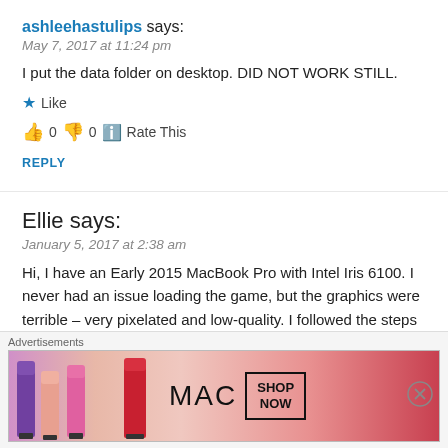ashleehastulips says:
May 7, 2017 at 11:24 pm
I put the data folder on desktop. DID NOT WORK STILL.
★ Like
👍 0 👎 0 ℹ Rate This
REPLY
Ellie says:
January 5, 2017 at 2:38 am
Hi, I have an Early 2015 MacBook Pro with Intel Iris 6100. I never had an issue loading the game, but the graphics were terrible – very pixelated and low-quality. I followed the steps for that
[Figure (other): MAC cosmetics advertisement banner showing lipsticks and 'SHOP NOW' button]